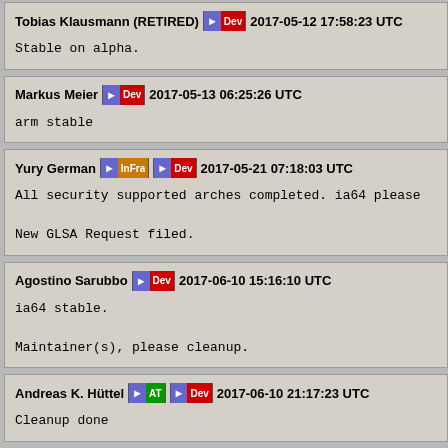Tobias Klausmann (RETIRED) [Dev] 2017-05-12 17:58:23 UTC
Stable on alpha.
Markus Meier [Dev] 2017-05-13 06:25:26 UTC
arm stable
Yury German [InFra] [Dev] 2017-05-21 07:18:03 UTC
All security supported arches completed. ia64 please

New GLSA Request filed.
Agostino Sarubbo [Dev] 2017-06-10 15:16:10 UTC
ia64 stable.

Maintainer(s), please cleanup.
Andreas K. Hüttel [AT] [Dev] 2017-06-10 21:17:23 UTC
Cleanup done